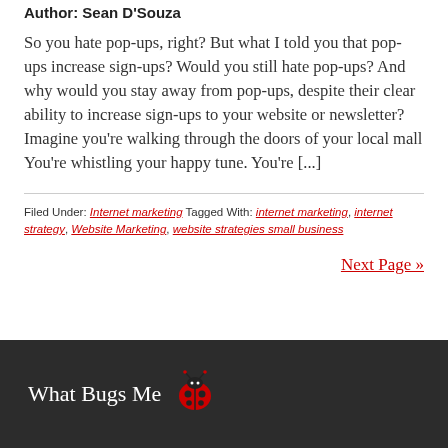Author: Sean D'Souza
So you hate pop-ups, right? But what I told you that pop-ups increase sign-ups? Would you still hate pop-ups? And why would you stay away from pop-ups, despite their clear ability to increase sign-ups to your website or newsletter? Imagine you're walking through the doors of your local mall You're whistling your happy tune. You're [...]
Filed Under: Internet marketing Tagged With: internet marketing, internet strategy, Website Marketing, website strategies small business
Next Page »
What Bugs Me